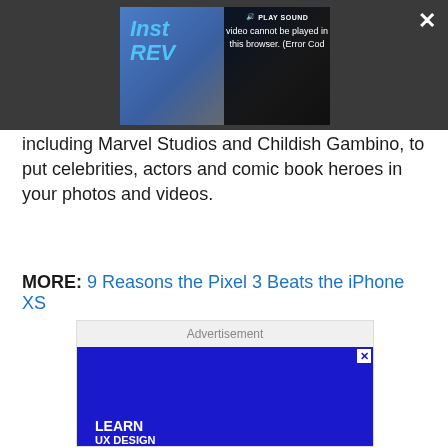[Figure (screenshot): Video player overlay with dark background showing a video thumbnail with 'Inst' and 'RE' text visible in blue, a black overlay with 'PLAY SOUND' and speaker icon, error message 'Video cannot be played in this browser. (Error Cod', a close X button, and expand icon]
including Marvel Studios and Childish Gambino, to put celebrities, actors and comic book heroes in your photos and videos.
MORE: 9 Reasons the Pixel 3 Beats the iPhone XS
[Figure (screenshot): Advertisement banner with blue background showing 'LEARN UX DESIGN' text and illustrated figures]